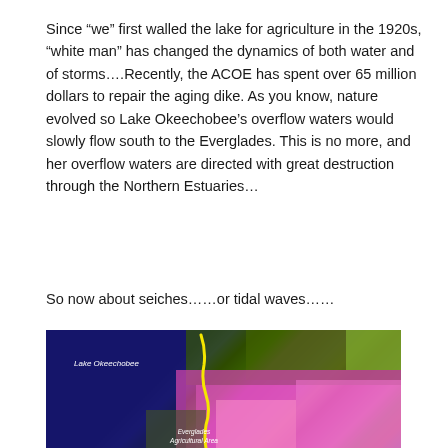Since “we” first walled the lake for agriculture in the 1920s, “white man” has changed the dynamics of both water and of storms….Recently, the ACOE has spent over 65 million dollars to repair the aging dike. As you know, nature evolved so Lake Okeechobee’s overflow waters would slowly flow south to the Everglades. This is no more, and her overflow waters are directed with great destruction through the Northern Estuaries…
So now about seiches……or tidal waves……
[Figure (photo): Satellite/aerial image of Lake Okeechobee and surrounding area including the Everglades Agricultural Area. The lake appears dark blue/navy on the left, with colorful (pink, magenta, green) agricultural and wetland areas to the south and east. A yellow line traces a path along the eastern shore of the lake. White text labels read 'Lake Okeechobee' and 'Everglades Agricultural Area'.]